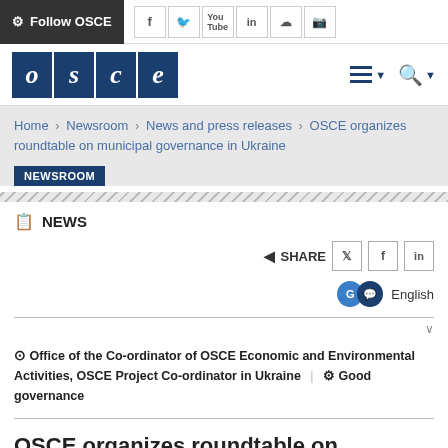Follow OSCE  [social icons: f, Twitter, YouTube, in, SoundCloud, Instagram]
[Figure (logo): OSCE logo - four blue squares with italic letters o, s, c, e in white]
Home > Newsroom > News and press releases > OSCE organizes roundtable on municipal governance in Ukraine
NEWSROOM
NEWS
SHARE [Twitter, Facebook, LinkedIn buttons]
English [language toggle]
Office of the Co-ordinator of OSCE Economic and Environmental Activities, OSCE Project Co-ordinator in Ukraine | Good governance
OSCE organizes roundtable on municipal...